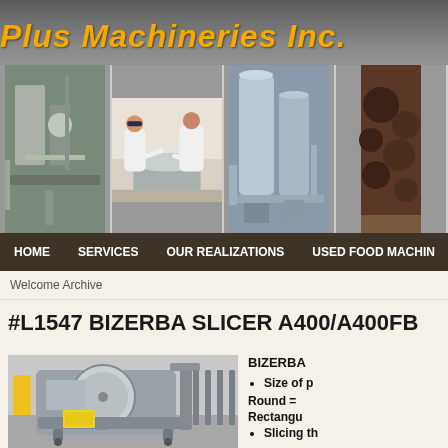Plus Machineries Inc.
[Figure (photo): Banner with three food industry photos: industrial machinery, workers in white coats working with large stainless steel vats/bowls, industrial tanks, and chocolate/confectionery items]
HOME   SERVICES   OUR REALIZATIONS   USED FOOD MACHIN...
Welcome Archive
#L1547 BIZERBA SLICER A400/A400FB
[Figure (photo): Photo of a Bizerba slicer machine A400/A400FB, silver/gray commercial meat slicer on a table in an industrial setting]
BIZERBA
Size of p
Round =
Rectangu
Slicing th
s